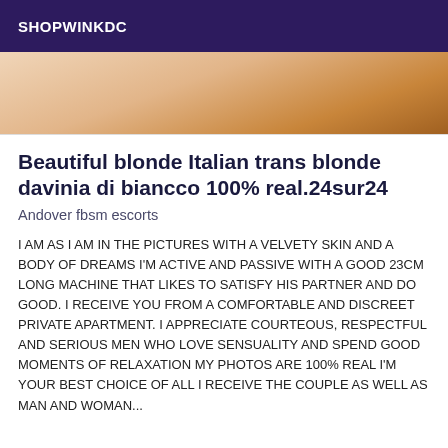SHOPWINKDC
[Figure (photo): Partial view of a person's torso/skin, cropped image]
Beautiful blonde Italian trans blonde davinia di biancco 100% real.24sur24
Andover fbsm escorts
I AM AS I AM IN THE PICTURES WITH A VELVETY SKIN AND A BODY OF DREAMS I'M ACTIVE AND PASSIVE WITH A GOOD 23CM LONG MACHINE THAT LIKES TO SATISFY HIS PARTNER AND DO GOOD. I RECEIVE YOU FROM A COMFORTABLE AND DISCREET PRIVATE APARTMENT. I APPRECIATE COURTEOUS, RESPECTFUL AND SERIOUS MEN WHO LOVE SENSUALITY AND SPEND GOOD MOMENTS OF RELAXATION MY PHOTOS ARE 100% REAL I'M YOUR BEST CHOICE OF ALL I RECEIVE THE COUPLE AS WELL AS MAN AND WOMAN...